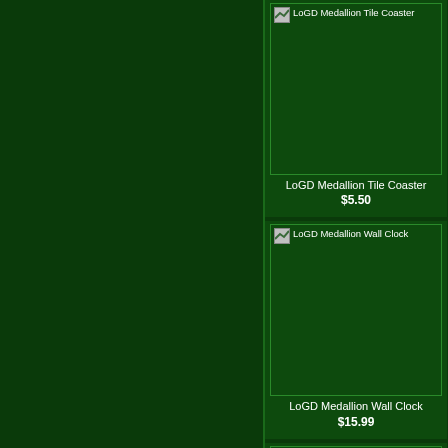[Figure (screenshot): Product listing: LoGD Medallion Tile Coaster, $5.50]
LoGD Medallion Tile Coaster
$5.50
[Figure (screenshot): Partial product image on right side (cropped)]
LoGD
[Figure (screenshot): Product listing: LoGD Medallion Wall Clock, $15.99]
LoGD Medallion Wall Clock
$15.99
[Figure (screenshot): Partial product image on right side (cropped), LotG]
LotG
[Figure (screenshot): Partial product listing at bottom: LoGD Medallion BBQ Apron (cropped)]
LoGD Medallion BBQ Apron